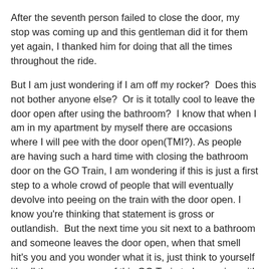After the seventh person failed to close the door, my stop was coming up and this gentleman did it for them yet again, I thanked him for doing that all the times throughout the ride.
But I am just wondering if I am off my rocker?  Does this not bother anyone else?  Or is it totally cool to leave the door open after using the bathroom?  I know that when I am in my apartment by myself there are occasions where I will pee with the door open(TMI?). As people are having such a hard time with closing the bathroom door on the GO Train, I am wondering if this is just a first step to a whole crowd of people that will eventually devolve into peeing on the train with the door open. I know you're thinking that statement is gross or outlandish.  But the next time you sit next to a bathroom and someone leaves the door open, when that smell hit's you and you wonder what it is, just think to yourself it's all the passengers of this GO Train today peeing with the door open.
With much adoring love, V.